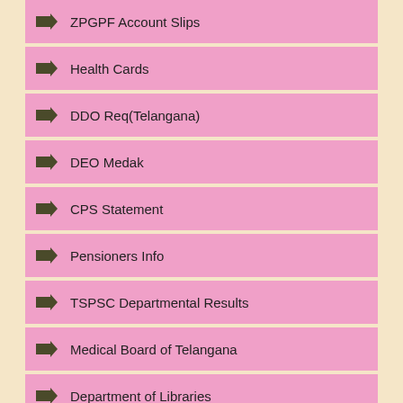ZPGPF Account Slips
Health Cards
DDO Req(Telangana)
DEO Medak
CPS Statement
Pensioners Info
TSPSC Departmental Results
Medical Board of Telangana
Department of Libraries
EXCEL FILES & OTHERS
Softwares
Income Tax
Departmental Test Results with Names
Service Regularisations
Departmental Tests Material
CCE